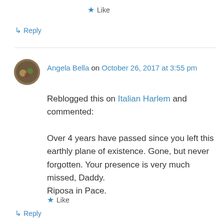★ Like
↳ Reply
Angela Bella on October 26, 2017 at 3:55 pm
Reblogged this on Italian Harlem and commented:

Over 4 years have passed since you left this earthly plane of existence. Gone, but never forgotten. Your presence is very much missed, Daddy.
Riposa in Pace.
★ Like
↳ Reply